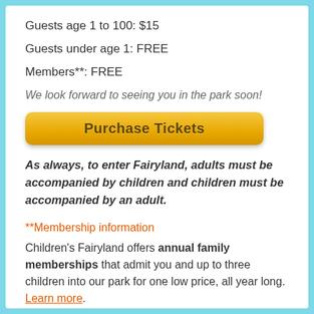Guests age 1 to 100: $15
Guests under age 1: FREE
Members**: FREE
We look forward to seeing you in the park soon!
[Figure (other): Orange/yellow gradient button labeled 'Purchase Tickets']
As always, to enter Fairyland, adults must be accompanied by children and children must be accompanied by an adult.
**Membership information
Children's Fairyland offers annual family memberships that admit you and up to three children into our park for one low price, all year long. Learn more.